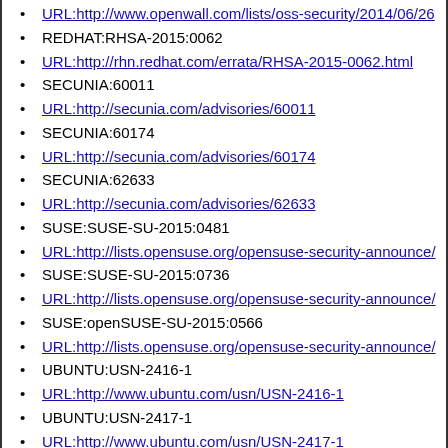URL:http://www.openwall.com/lists/oss-security/2014/06/26
REDHAT:RHSA-2015:0062
URL:http://rhn.redhat.com/errata/RHSA-2015-0062.html
SECUNIA:60011
URL:http://secunia.com/advisories/60011
SECUNIA:60174
URL:http://secunia.com/advisories/60174
SECUNIA:62633
URL:http://secunia.com/advisories/62633
SUSE:SUSE-SU-2015:0481
URL:http://lists.opensuse.org/opensuse-security-announce/
SUSE:SUSE-SU-2015:0736
URL:http://lists.opensuse.org/opensuse-security-announce/
SUSE:openSUSE-SU-2015:0566
URL:http://lists.opensuse.org/opensuse-security-announce/
UBUNTU:USN-2416-1
URL:http://www.ubuntu.com/usn/USN-2416-1
UBUNTU:USN-2417-1
URL:http://www.ubuntu.com/usn/USN-2417-1
UBUNTU:USN-2418-1
URL:http://www.ubuntu.com/usn/USN-2418-1